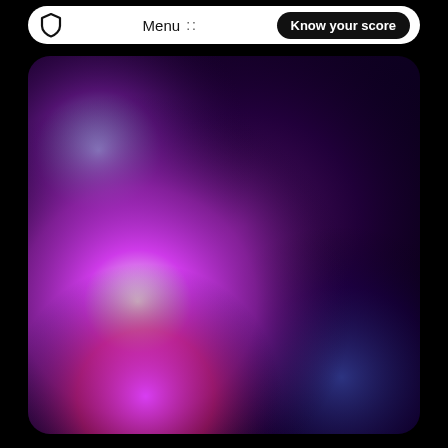Menu :: Know your score
[Figure (illustration): Abstract glowing aurora-like gradient image with vivid pink, magenta, purple, blue, and white blended colors on a dark background, rounded rectangle shape.]